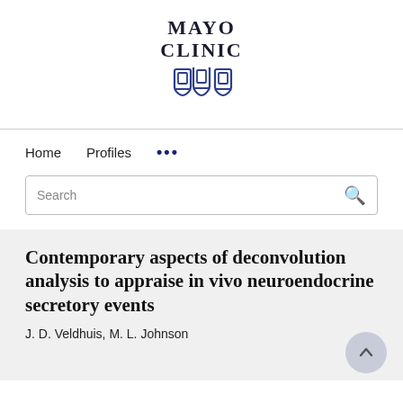[Figure (logo): Mayo Clinic logo with text 'MAYO CLINIC' and three shield/chalice icons in navy blue]
Home   Profiles   ...
Search
Contemporary aspects of deconvolution analysis to appraise in vivo neuroendocrine secretory events
J. D. Veldhuis, M. L. Johnson